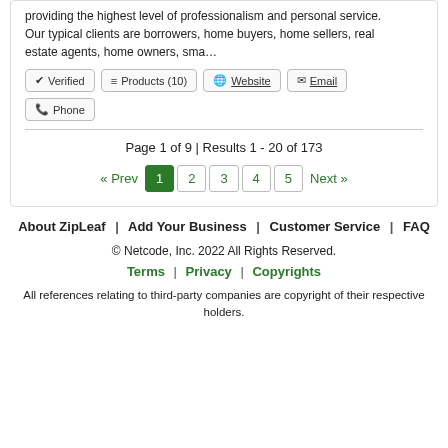providing the highest level of professionalism and personal service. Our typical clients are borrowers, home buyers, home sellers, real estate agents, home owners, sma…
✔ Verified   ≡ Products (10)   🌐 Website   ✉ Email   📞 Phone
Page 1 of 9 | Results 1 - 20 of 173
« Prev  1  2  3  4  5  Next »
About ZipLeaf | Add Your Business | Customer Service | FAQ
© Netcode, Inc. 2022 All Rights Reserved.
Terms | Privacy | Copyrights
All references relating to third-party companies are copyright of their respective holders.